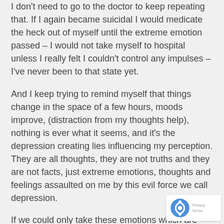I don't need to go to the doctor to keep repeating that. If I again became suicidal I would medicate the heck out of myself until the extreme emotion passed – I would not take myself to hospital unless I really felt I couldn't control any impulses – I've never been to that state yet.
And I keep trying to remind myself that things change in the space of a few hours, moods improve, (distraction from my thoughts help), nothing is ever what it seems, and it's the depression creating lies influencing my perception. They are all thoughts, they are not truths and they are not facts, just extreme emotions, thoughts and feelings assaulted on me by this evil force we call depression.
If we could only take these emotions which are killing us and bury them in the garbage where they belong, and instead have emotions of joy, peace, happiness, op and contentment.